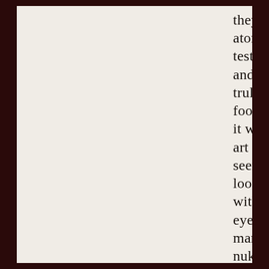they faked the atomic bomb tests in the 40's and 50's with truly dire c.g.i. footage – though it was state of the art back then; seems ridiculous looking back with 21st century eyes that so many fell for the nuke narrative. People were much more